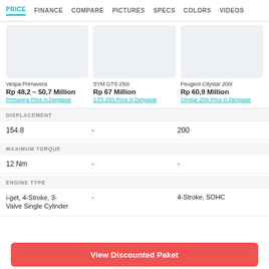PRICE  FINANCE  COMPARE  PICTURES  SPECS  COLORS  VIDEOS
[Figure (other): Product comparison cards for Vespa Primavera, SYM GTS 250i, Peugeot Citystar 200i with placeholder images and prices]
| Vespa Primavera | SYM GTS 250i | Peugeot Citystar 200i |
| --- | --- | --- |
| Rp 48,2 – 50,7 Million | Rp 67 Million | Rp 60,9 Million |
| Primavera Price in Denpasar | GTS 250i Price in Denpasar | Citystar 200i Price in Denpasar |
DISPLACEMENT
| Col1 | Col2 | Col3 |
| --- | --- | --- |
| 154.8 | - | 200 |
MAXIMUM TORQUE
| Col1 | Col2 | Col3 |
| --- | --- | --- |
| 12 Nm | - | - |
ENGINE TYPE
| Col1 | Col2 | Col3 |
| --- | --- | --- |
| i-get, 4-Stroke, 3-Valve Single Cylinder | - | 4-Stroke, SOHC |
View Discounted Paket